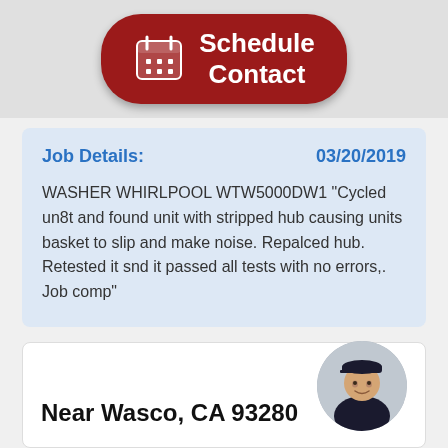[Figure (other): Red rounded button with calendar icon and text 'Schedule Contact']
Job Details:   03/20/2019

WASHER WHIRLPOOL WTW5000DW1 "Cycled un8t and found unit with stripped hub causing units basket to slip and make noise. Repalced hub. Retested it snd it passed all tests with no errors,. Job comp"
Near Wasco, CA 93280
[Figure (photo): Circular profile photo of a technician wearing a black cap and uniform]